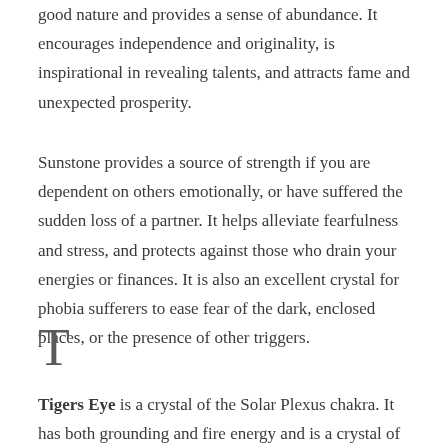good nature and provides a sense of abundance. It encourages independence and originality, is inspirational in revealing talents, and attracts fame and unexpected prosperity.
Sunstone provides a source of strength if you are dependent on others emotionally, or have suffered the sudden loss of a partner. It helps alleviate fearfulness and stress, and protects against those who drain your energies or finances. It is also an excellent crystal for phobia sufferers to ease fear of the dark, enclosed places, or the presence of other triggers.
T
Tigers Eye is a crystal of the Solar Plexus chakra. It has both grounding and fire energy and is a crystal of luck, good fortune, courage, strength, integrity and personal power. Tigers Eye is a powerful stone that helps you to release fear and anxiety and aids